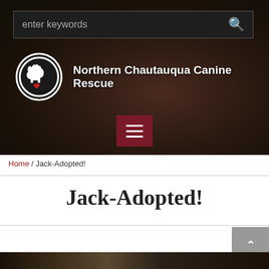[Figure (screenshot): Website header with dark brown gradient background containing a search bar at top, organization logo and name, and hamburger menu button]
Home / Jack-Adopted!
Jack-Adopted!
[Figure (photo): Bottom edge of a photo visible at bottom of page]